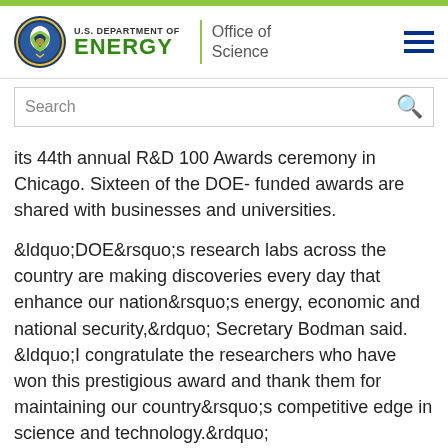U.S. Department of Energy — Office of Science
its 44th annual R&D 100 Awards ceremony in Chicago. Sixteen of the DOE- funded awards are shared with businesses and universities.
&ldquo;DOE&rsquo;s research labs across the country are making discoveries every day that enhance our nation&rsquo;s energy, economic and national security,&rdquo; Secretary Bodman said. &ldquo;I congratulate the researchers who have won this prestigious award and thank them for maintaining our country&rsquo;s competitive edge in science and technology.&rdquo;
The R&D 100 Awards recognize the most promising new